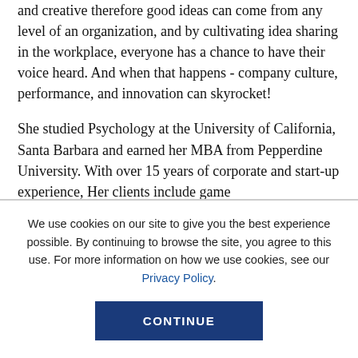and creative therefore good ideas can come from any level of an organization, and by cultivating idea sharing in the workplace, everyone has a chance to have their voice heard. And when that happens - company culture, performance, and innovation can skyrocket!
She studied Psychology at the University of California, Santa Barbara and earned her MBA from Pepperdine University. With over 15 years of corporate and start-up experience, Her clients include game [continues below fold]
We use cookies on our site to give you the best experience possible. By continuing to browse the site, you agree to this use. For more information on how we use cookies, see our Privacy Policy.
CONTINUE